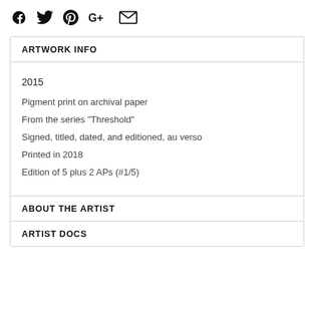[Figure (other): Social media sharing icons: Facebook, Twitter, Pinterest, Google+, Email]
ARTWORK INFO
2015
Pigment print on archival paper
From the series "Threshold"
Signed, titled, dated, and editioned, au verso
Printed in 2018
Edition of 5 plus 2 APs (#1/5)
ABOUT THE ARTIST
ARTIST DOCS